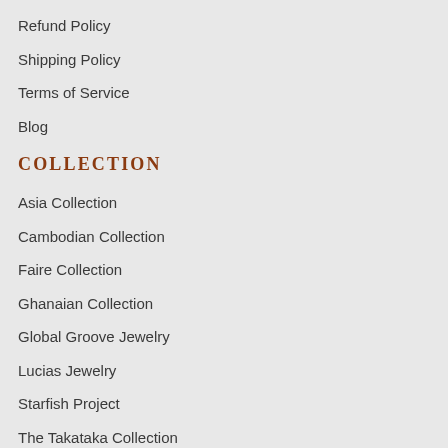Refund Policy
Shipping Policy
Terms of Service
Blog
COLLECTION
Asia Collection
Cambodian Collection
Faire Collection
Ghanaian Collection
Global Groove Jewelry
Lucias Jewelry
Starfish Project
The Takataka Collection